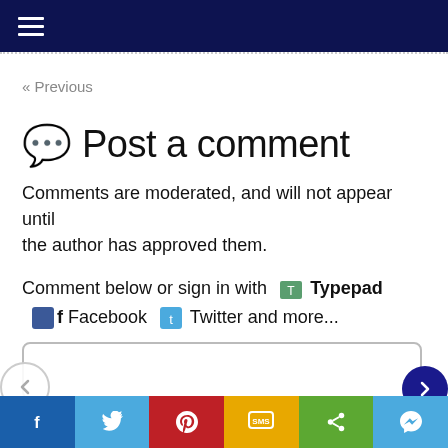≡ (navigation menu bar)
« Previous
💬 Post a comment
Comments are moderated, and will not appear until the author has approved them.
Comment below or sign in with Typepad Facebook Twitter and more...
[Figure (screenshot): Comment text input box (rounded rectangle border)]
Social share bar: Facebook, Twitter, Pinterest, SMS, Share, Messenger